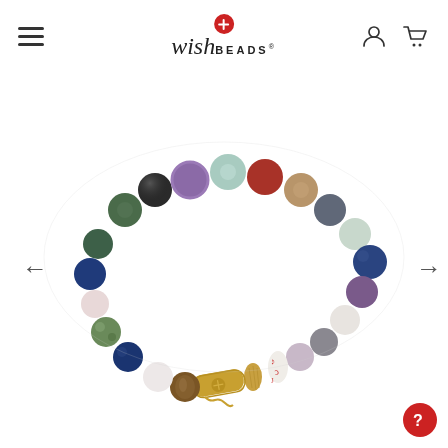WishBeads navigation header with hamburger menu, logo, account and cart icons
[Figure (photo): A colorful gemstone bead bracelet featuring multicolored semi-precious stone beads (purple amethyst, green, black, blue lapis, red, white, grey, brown tiger eye, and others) arranged in a circle on a white background. A gold cylindrical tube charm with WishBeads logo is attached, along with a hammered gold bead and a white ceramic bead with red text/writing. The bracelet is displayed on a clean white background.]